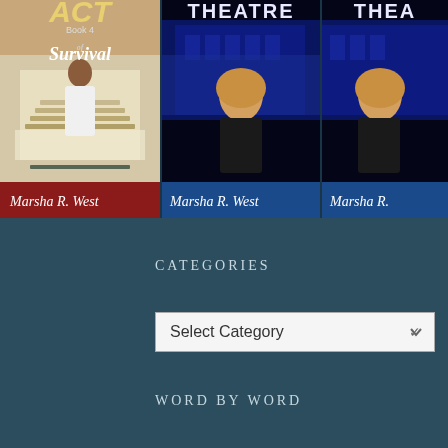[Figure (illustration): Three book covers by Marsha R. West displayed in a row. First book: 'ACT of Survival Book 4' with a woman in white against a banquet hall background, red author bar reading 'Marsha R. West'. Second book: 'THEATRE' title with a woman in black against a blue-lit building, blue author bar reading 'Marsha R. West'. Third book: partially visible, same 'THEA' title and woman, blue author bar reading 'Marsha R.']
CATEGORIES
Select Category
WORD BY WORD